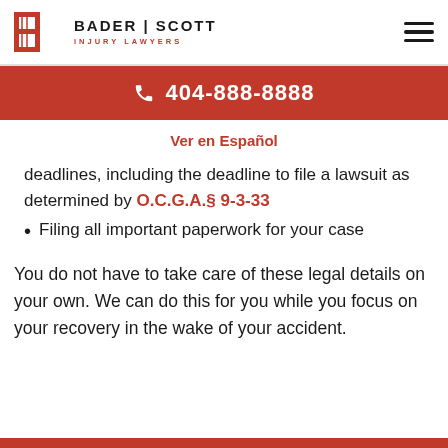BADER | SCOTT INJURY LAWYERS — 404-888-8888
Ver en Español
deadlines, including the deadline to file a lawsuit as determined by O.C.G.A.§ 9-3-33
Filing all important paperwork for your case
You do not have to take care of these legal details on your own. We can do this for you while you focus on your recovery in the wake of your accident.